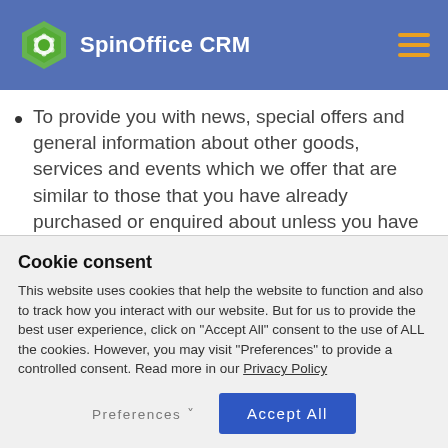SpinOffice CRM
To provide you with news, special offers and general information about other goods, services and events which we offer that are similar to those that you have already purchased or enquired about unless you have opted not to receive such information
Cookie consent
This website uses cookies that help the website to function and also to track how you interact with our website. But for us to provide the best user experience, click on "Accept All" consent to the use of ALL the cookies. However, you may visit "Preferences" to provide a controlled consent. Read more in our Privacy Policy